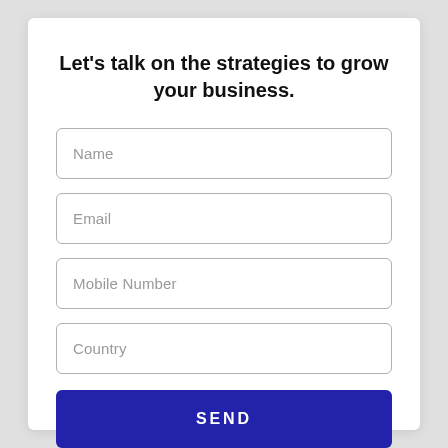Let's talk on the strategies to grow your business.
Name
Email
Mobile Number
Country
SEND